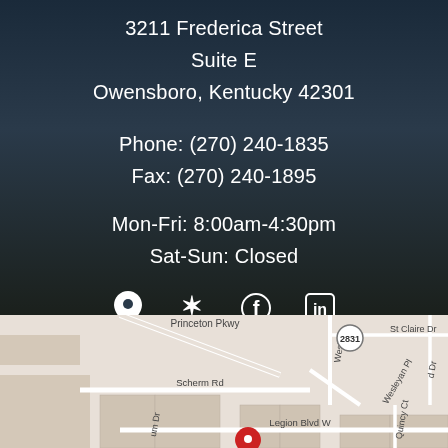3211 Frederica Street
Suite E
Owensboro, Kentucky 42301
Phone: (270) 240-1835
Fax: (270) 240-1895
Mon-Fri: 8:00am-4:30pm
Sat-Sun: Closed
[Figure (infographic): Social media/contact icons row: map pin, Yelp, Facebook, LinkedIn]
[Figure (map): Google Maps screenshot showing location near Legion Blvd W, Scherm Rd, Wesleyan Pl, Princeton Pkwy in Owensboro Kentucky area, with red location pin marker]